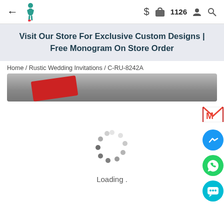← [logo] $ [bag] 1126 [user] [search]
Visit Our Store For Exclusive Custom Designs | Free Monogram On Store Order
Home / Rustic Wedding Invitations / C-RU-8242A
[Figure (photo): Product image strip showing a gray background with a red card/invitation]
[Figure (infographic): Loading spinner animation with dots in a circle pattern]
Loading .
[Figure (logo): Gmail icon (red M)]
[Figure (logo): Facebook Messenger icon (blue circle with lightning bolt)]
[Figure (logo): WhatsApp icon (green circle with phone)]
[Figure (logo): Chat/support icon (teal circle with speech bubble)]